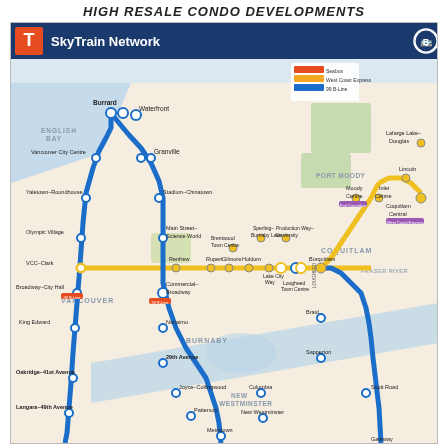HIGH RESALE CONDO DEVELOPMENTS
[Figure (map): TransLink SkyTrain Network map showing Expo Line (blue), Millennium Line (yellow), and Canada Line (blue), with station names including Burrard, Waterfront, Granville, Vancouver City Centre, Yaletown-Roundhouse, Olympic Village, Stadium-Chinatown, Main Street-Science World, VCC-Clark, Broadway-City Hall, Commercial-Broadway, Nanaimo, 29th Avenue, Oakridge-41st Avenue, Langara-49th Avenue, Joyce-Collingwood, Patterson, Metrotown, New Westminster, Columbia, Scott Road, Lougheed Town Centre, Lake City Way, Holdom, Gilmore, Renfrew, Rupert, Braid, Sapperton, Brentwood Town Centre, Sperling-Burnaby Lake, Production Way-University, Burquitlam, Moody Centre, Inlet Centre, Lincoln, Coquitlam Central, Laffarge Lake-Douglas, Port Coquitlam area. Map shows geographic context including Fraser River, Burnaby, Vancouver, New Westminster, Coquitlam, Port Moody regions.]